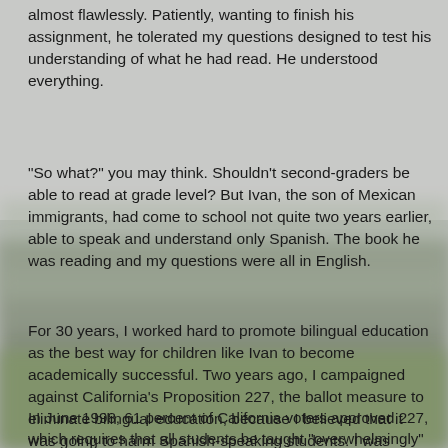[Figure (photo): A blurred outdoor nature photo showing a misty forest landscape with green trees and grey sky, used as a background overlay for the lower portion of the page.]
almost flawlessly. Patiently, wanting to finish his assignment, he tolerated my questions designed to test his understanding of what he had read. He understood everything.
"So what?" you may think. Shouldn't second-graders be able to read at grade level? But Ivan, the son of Mexican immigrants, had come to school not quite two years earlier, able to speak and understand only Spanish. The book he was reading and my questions were all in English.
For 30 years, I worked hard to promote bilingual education as the best way for children like Ivan to become academically successful. Two years ago, I campaigned against California's Proposition 227, the ballot measure to eliminate bilingual education, because I believed that it was going to harm Spanish-speaking students. I was certain that students would be confused in English-only instruction and would be lost in the shuffle. I now realize I was wrong.
In June 1998, 61 percent of California voters approved 227, which requires that all students be taught "overwhelmingly"